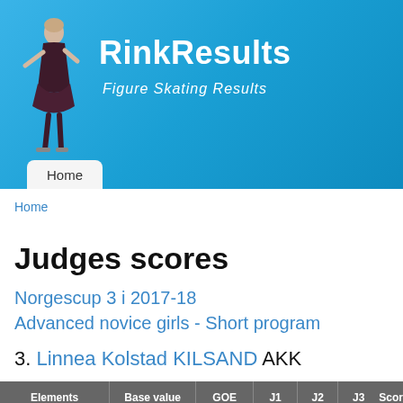[Figure (illustration): Figure skater silhouette/photo in dark dress on blue background header]
RinkResults
Figure Skating Results
Home
Home
Judges scores
Norgescup 3 i 2017-18
Advanced novice girls - Short program
3. Linnea Kolstad KILSAND  AKK
| Elements | Base value | GOE | J1 | J2 | J3 | Score |
| --- | --- | --- | --- | --- | --- | --- |